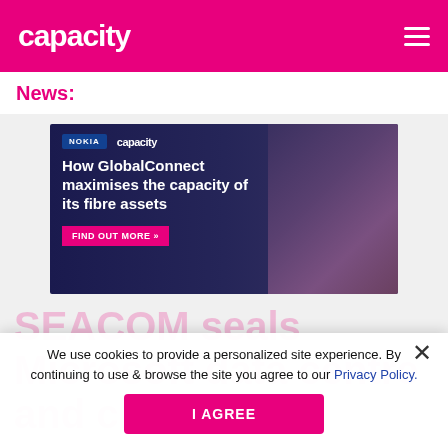capacity
News:
[Figure (photo): Advertisement banner: Nokia and Capacity logos, headline 'How GlobalConnect maximises the capacity of its fibre assets', with 'FIND OUT MORE »' button and image of person wearing headset]
We use cookies to provide a personalized site experience. By continuing to use & browse the site you agree to our Privacy Policy.
I AGREE
SEACOM seals Microsoft data centre and cloud deal